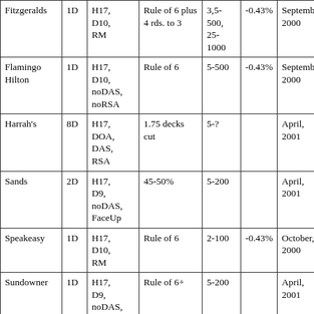| Casino | Decks | Rules | Penetration | Bet Spread | Edge | Date |
| --- | --- | --- | --- | --- | --- | --- |
| Fitzgeralds | 1D | H17, D10, RM | Rule of 6 plus 4 rds. to 3 | 3,5-500, 25-1000 | -0.43% | September 2000 |
| Flamingo Hilton | 1D | H17, D10, noDAS, noRSA | Rule of 6 | 5-500 | -0.43% | September 2000 |
| Harrah's | 8D | H17, DOA, DAS, RSA | 1.75 decks cut | 5-? |  | April, 2001 |
| Sands | 2D | H17, D9, noDAS, FaceUp | 45-50% | 5-200 |  | April, 2001 |
| Speakeasy | 1D | H17, D10, RM | Rule of 6 | 2-100 | -0.43% | October, 2000 |
| Sundowner | 1D | H17, D9, noDAS, RM, 21 push | Rule of 6+ | 5-200 |  | April, 2001 |